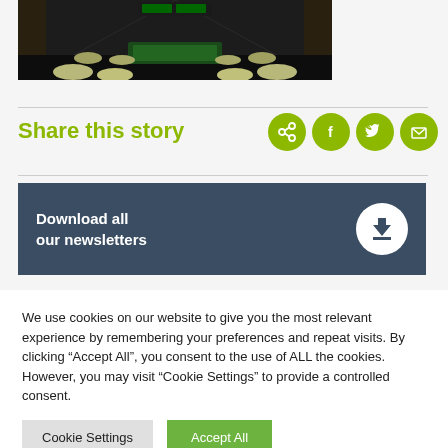[Figure (photo): Interior of a lounge/gaming room with round cream-colored ottoman stools, dark tables, and shelving in the background under dim lighting]
Share this story
[Figure (infographic): Four green circular social share icons: share, Facebook, Twitter, Email]
[Figure (infographic): Dark blue banner with white text 'Download all our newsletters' and a white circular download arrow icon]
We use cookies on our website to give you the most relevant experience by remembering your preferences and repeat visits. By clicking "Accept All", you consent to the use of ALL the cookies. However, you may visit "Cookie Settings" to provide a controlled consent.
Cookie Settings
Accept All